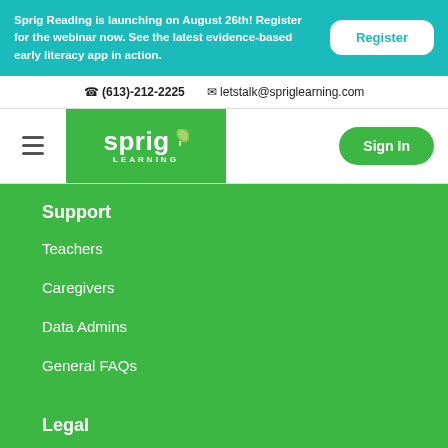Sprig Reading is launching on August 26th! Register for the webinar now. See the latest evidence-based early literacy app in action.
Register
(613)-212-2225   letstalk@spriglearning.com
[Figure (logo): Sprig Learning logo with green leaf and white text on green background]
Sign In
Support
Teachers
Caregivers
Data Admins
General FAQs
Legal
Media Centre